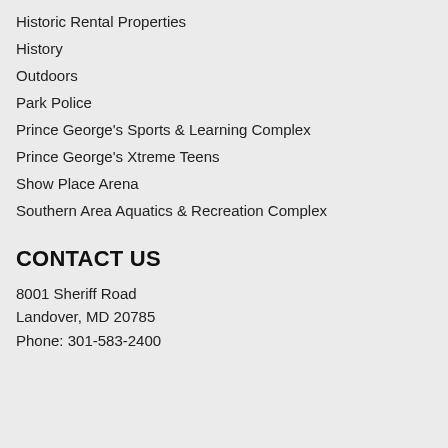Historic Rental Properties
History
Outdoors
Park Police
Prince George's Sports & Learning Complex
Prince George's Xtreme Teens
Show Place Arena
Southern Area Aquatics & Recreation Complex
CONTACT US
8001 Sheriff Road
Landover, MD 20785
Phone: 301-583-2400